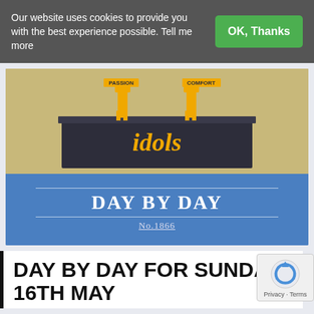Our website uses cookies to provide you with the best experience possible. Tell me more
OK, Thanks
[Figure (illustration): Book cover showing 'idols' text on a dark podium with yellow-colored figures standing on it, beneath title DAY BY DAY and number No.1866 on blue background]
DAY BY DAY FOR SUNDAY 16TH MAY